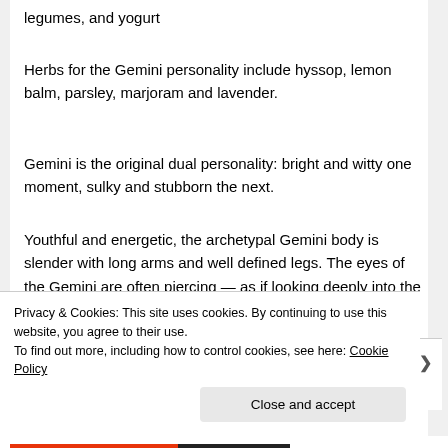legumes, and yogurt
Herbs for the Gemini personality include hyssop, lemon balm, parsley, marjoram and lavender.
Gemini is the original dual personality: bright and witty one moment, sulky and stubborn the next.
Youthful and energetic, the archetypal Gemini body is slender with long arms and well defined legs. The eyes of the Gemini are often piercing — as if looking deeply into the soul.
In matters of love, it is the wise Gemini who will do well
Privacy & Cookies: This site uses cookies. By continuing to use this website, you agree to their use.
To find out more, including how to control cookies, see here: Cookie Policy
Close and accept